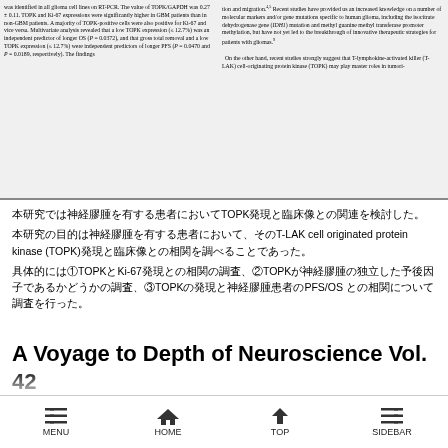[Figure (screenshot): Scanned two-column academic paper text in English about TOPK/GAPDH expression in glioma/GBM patients]
本研究では神経膠腫を有する患者においてTOPK発現と臨床像との関連を検討した。
本研究の目的は神経膠腫を有する患者において、そのT-LAK cell originated protein kinase (TOPK)発現と臨床像との相関を調べることであった。
具体的には①TOPKとKi-67発現との相関の調査、②TOPKが神経膠腫の独立した予後因子であるかどうかの調査、③TOPKの発現と神経膠腫患者のPFS/OSとの相関について調査を行った。
A Voyage to Depth of Neuroscience Vol. 42
Hayashi T, Hayakawa Y, Koh M, Tomita T, Nagai S, Kashiwazaki D, Sugimori M, Origasa H, Kuroda S.
Impact of a novel marker, T-LAK cell originating protein
MENU  HOME  TOP  SIDEBAR